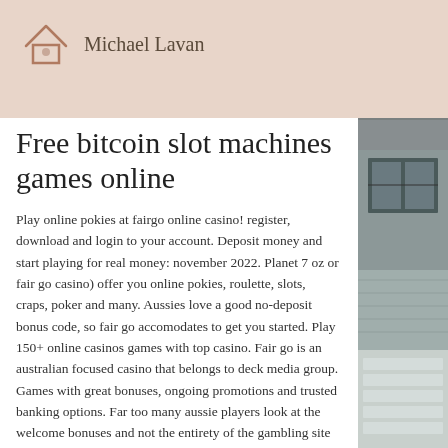Michael Lavan
Free bitcoin slot machines games online
Play online pokies at fairgo online casino! register, download and login to your account. Deposit money and start playing for real money: november 2022. Planet 7 oz or fair go casino) offer you online pokies, roulette, slots, craps, poker and many. Aussies love a good no-deposit bonus code, so fair go accomodates to get you started. Play 150+ online casinos games with top casino. Fair go is an australian focused casino that belongs to deck media group. Games with great bonuses, ongoing promotions and trusted banking options. Far too many aussie players look at the welcome bonuses and not the entirety of the gambling site when
[Figure (photo): Right side photo strip showing a house exterior with gray siding, windows, and cloudy sky]